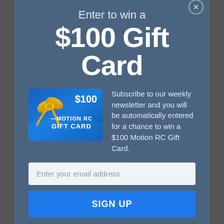Enter to win a
$100 Gift Card
[Figure (illustration): Motion RC $100 Gift Card with gold bow ribbon on blue card background]
Subscribe to our weekly newsletter and you will be automatically entered for a chance to win a $100 Motion RC Gift Card.
Enter your email address
SIGN UP